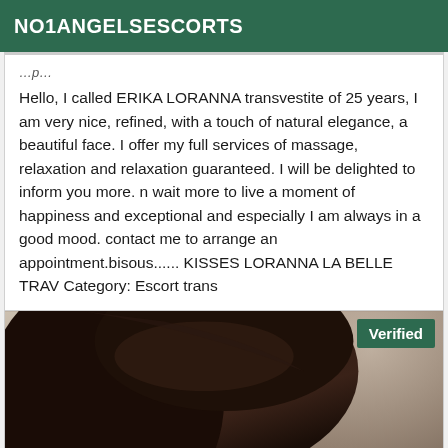NO1ANGELSESCORTS
Hello, I called ERIKA LORANNA transvestite of 25 years, I am very nice, refined, with a touch of natural elegance, a beautiful face. I offer my full services of massage, relaxation and relaxation guaranteed. I will be delighted to inform you more. n wait more to live a moment of happiness and exceptional and especially I am always in a good mood. contact me to arrange an appointment.bisous...... KISSES LORANNA LA BELLE TRAV Category: Escort trans
[Figure (photo): Photo of a person with dark hair, partially visible, with a green Verified badge in the upper right corner]